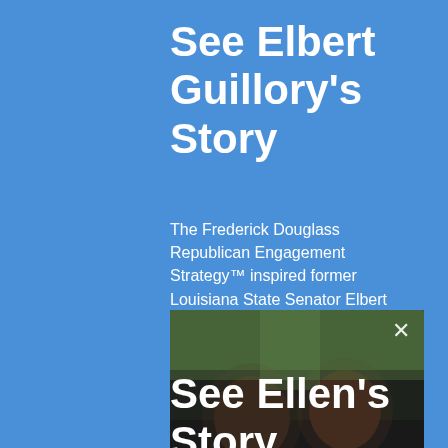See Elbert Guillory's Story
The Frederick Douglass Republican Engagement Strategy™ inspired former Louisiana State Senator Elbert Guillory's party switch . . .
[Figure (photo): Blurred video thumbnail showing two people, with an X close button in the top right corner]
See Ellen's Story